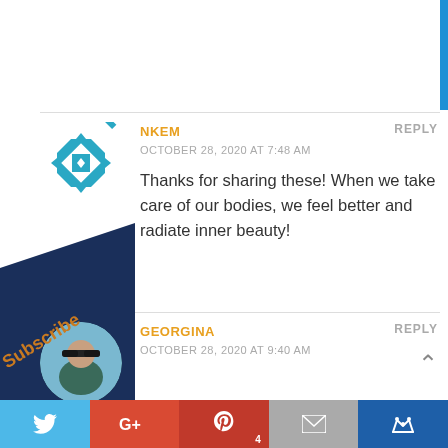[Figure (illustration): Blue vertical bar on right edge top]
[Figure (illustration): Teal geometric snowflake/star avatar for user NKEM]
NKEM
REPLY
OCTOBER 28, 2020 AT 7:48 AM
Thanks for sharing these! When we take care of our bodies, we feel better and radiate inner beauty!
[Figure (photo): Circular avatar photo of Georgina — person with sunglasses outdoors]
GEORGINA
REPLY
OCTOBER 28, 2020 AT 9:40 AM
This year has been challenging but lately, I
[Figure (infographic): Social share bar with Twitter, Google+, Pinterest (count 4), Email, and Bloglovin buttons]
Subscribe